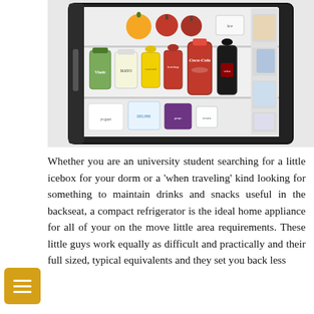[Figure (photo): An open mini/compact refrigerator stocked with various food and drink items including Coca-Cola bottles, condiment bottles, fruits (orange, apples), and other food containers on the shelves and door.]
Whether you are an university student searching for a little icebox for your dorm or a 'when traveling' kind looking for something to maintain drinks and snacks useful in the backseat, a compact refrigerator is the ideal home appliance for all of your on the move little area requirements. These little guys work equally as difficult and practically and their full sized, typical equivalents and they set you back less